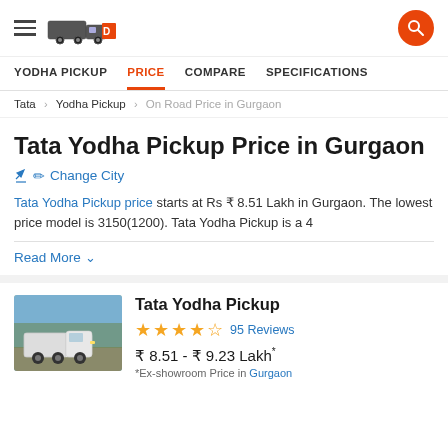Navigation header with hamburger menu, truck logo, and search button
YODHA PICKUP | PRICE | COMPARE | SPECIFICATIONS
Tata > Yodha Pickup > On Road Price in Gurgaon
Tata Yodha Pickup Price in Gurgaon
Change City
Tata Yodha Pickup price starts at Rs ₹ 8.51 Lakh in Gurgaon. The lowest price model is 3150(1200). Tata Yodha Pickup is a 4
Read More
Tata Yodha Pickup
95 Reviews
₹ 8.51 - ₹ 9.23 Lakh*
*Ex-showroom Price in Gurgaon